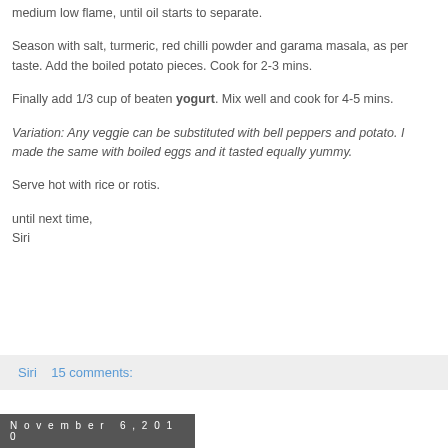medium low flame, until oil starts to separate.
Season with salt, turmeric, red chilli powder and garama masala, as per taste. Add the boiled potato pieces. Cook for 2-3 mins.
Finally add 1/3 cup of beaten yogurt. Mix well and cook for 4-5 mins.
Variation: Any veggie can be substituted with bell peppers and potato. I made the same with boiled eggs and it tasted equally yummy.
Serve hot with rice or rotis.
until next time,
Siri
Siri    15 comments:
November 6, 2010